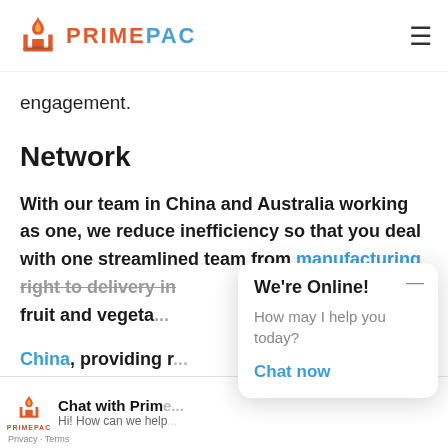[Figure (logo): PrimePac logo with orange/red flame icon and company name in stylized text]
engagement.
Network
With our team in China and Australia working as one, we reduce inefficiency so that you deal with one streamlined team from manufacturing right to delivery in fruit and vegeta...
Chat with Prim... Hi! How can we help...
We're Online! How may I help you today?
Chat now
China, providing r...